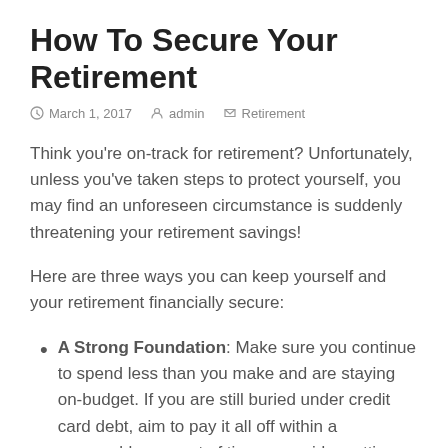How To Secure Your Retirement
March 1, 2017   admin   Retirement
Think you're on-track for retirement? Unfortunately, unless you've taken steps to protect yourself, you may find an unforeseen circumstance is suddenly threatening your retirement savings!
Here are three ways you can keep yourself and your retirement financially secure:
A Strong Foundation: Make sure you continue to spend less than you make and are staying on-budget. If you are still buried under credit card debt, aim to pay it all off within a reasonable amount of time—consider setting a goal such as two years. The more debt you're in, the less